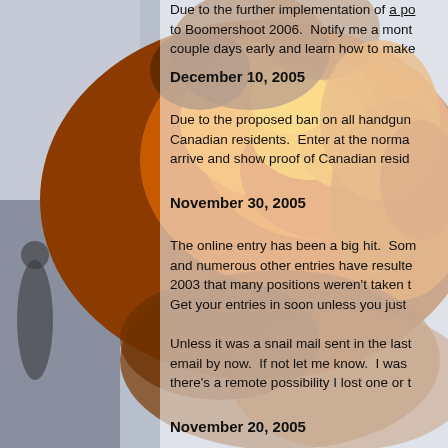[Figure (photo): Background photo of a large explosion fireball with orange and red flames against a blue-grey sky, with a silhouette of a person on the left side.]
Due to the further implementation of a po to Boomershoot 2006.  Notify me a mont couple days early and learn how to make
December 10, 2005
Due to the proposed ban on all handgun Canadian residents.  Enter at the norma arrive and show proof of Canadian resid
November 30, 2005
The online entry has been a big hit.  Som and numerous other entries have resulte 2003 that many positions weren't taken t Get your entries in soon unless you just
Unless it was a snail mail sent in the last email by now.  If not let me know.  I was there's a remote possibility I lost one or t
November 20, 2005